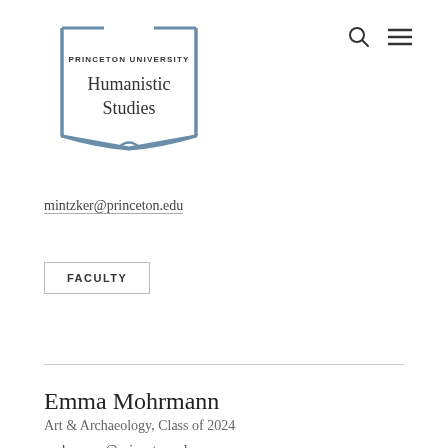[Figure (logo): Princeton University Humanistic Studies logo — open book shape in steel blue with text 'PRINCETON UNIVERSITY' in small caps and 'Humanistic Studies' in larger serif font]
mintzker@princeton.edu
FACULTY
Emma Mohrmann
Art & Archaeology, Class of 2024
mohrmann@princeton.edu